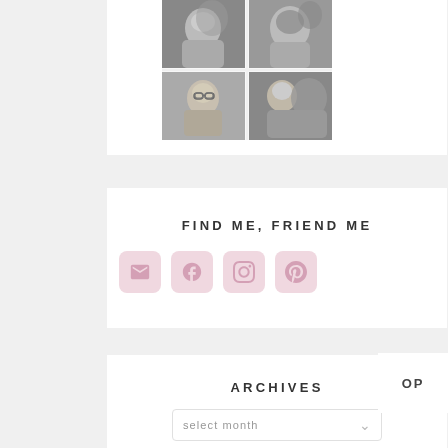[Figure (photo): Black and white photo collage of a woman with curly hair and glasses posing with an orangutan, arranged in a 2x2 grid]
FIND ME, FRIEND ME
[Figure (infographic): Four social media icon buttons (email, Facebook, Instagram, Pinterest) with pink rounded square backgrounds]
ARCHIVES
select month